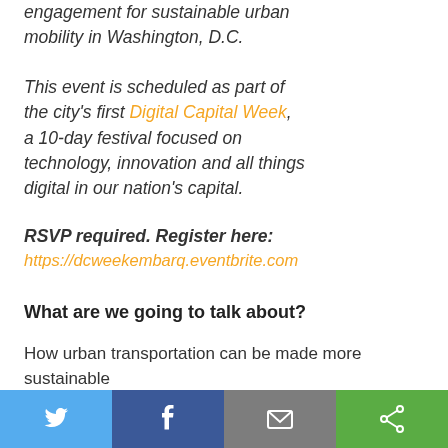engagement for sustainable urban mobility in Washington, D.C.
This event is scheduled as part of the city's first Digital Capital Week, a 10-day festival focused on technology, innovation and all things digital in our nation's capital.
RSVP required. Register here: https://dcweekembarq.eventbrite.com
What are we going to talk about?
How urban transportation can be made more sustainable through: